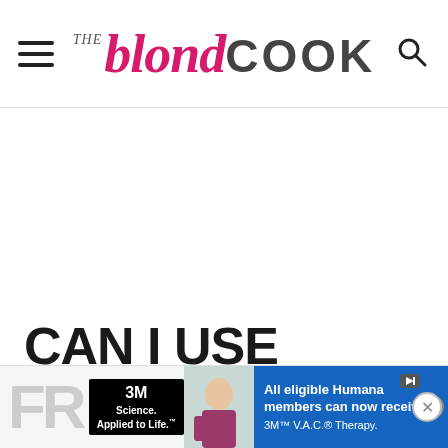THE blond COOK
CAN I USE FROZEN CORN INSTEAD OF
[Figure (other): Advertisement banner at bottom: 3M Science Applied to Life and Humana VAC Therapy ad]